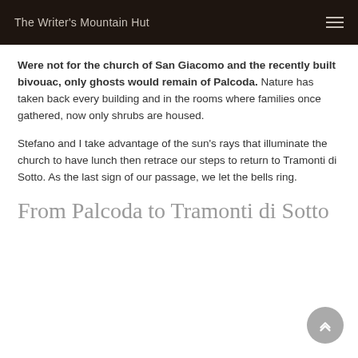The Writer's Mountain Hut
Were not for the church of San Giacomo and the recently built bivouac, only ghosts would remain of Palcoda. Nature has taken back every building and in the rooms where families once gathered, now only shrubs are housed.
Stefano and I take advantage of the sun’s rays that illuminate the church to have lunch then retrace our steps to return to Tramonti di Sotto. As the last sign of our passage, we let the bells ring.
From Palcoda to Tramonti di Sotto